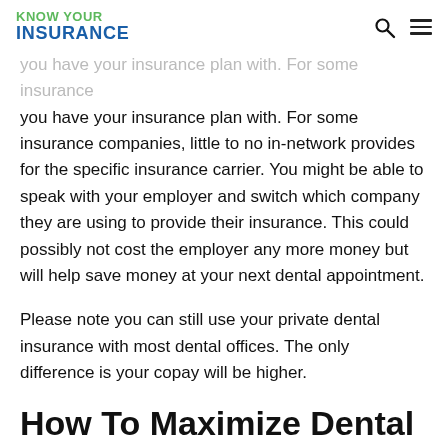KNOW YOUR INSURANCE
you have your insurance plan with. For some insurance companies, little to no in-network provides for the specific insurance carrier. You might be able to speak with your employer and switch which company they are using to provide their insurance. This could possibly not cost the employer any more money but will help save money at your next dental appointment.
Please note you can still use your private dental insurance with most dental offices. The only difference is your copay will be higher.
How To Maximize Dental Coinsurance